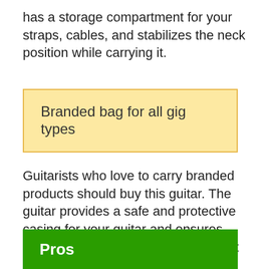has a storage compartment for your straps, cables, and stabilizes the neck position while carrying it.
Branded bag for all gig types
Guitarists who love to carry branded products should buy this guitar. The guitar provides a safe and protective casing for your guitar and ensures that your guitar stays for long without damage. Note that it also has a Fender logo on top, which makes it durable.
Pros